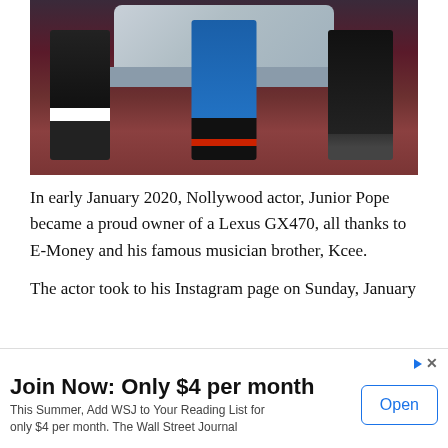[Figure (photo): Photo showing three people standing in front of a silver Lexus GX470 SUV at night. Person on left wears black pants and white shoes. Person in center wears blue jeans and black/red sneakers. Person on right wears all black.]
In early January 2020, Nollywood actor, Junior Pope became a proud owner of a Lexus GX470, all thanks to E-Money and his famous musician brother, Kcee.
The actor took to his Instagram page on Sunday, January 20, where he shared photos of his new car.
Join Now: Only $4 per month
This Summer, Add WSJ to Your Reading List for only $4 per month. The Wall Street Journal